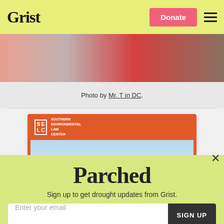Grist | Donate
[Figure (photo): Blurred photo strip showing orange, red, and dark tones, partial view of objects]
Photo by Mr. T in DC.
[Figure (illustration): Southern Environmental Law Center (SELC) advertisement card with orange header and birds flying over water image]
Parched
Sign up to get drought updates from Grist.
Enter your email | SIGN UP
No thanks